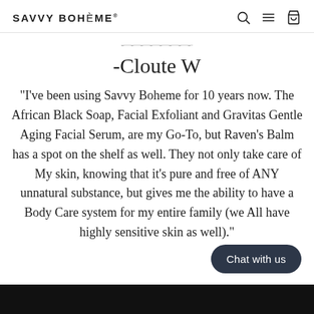SAVVY BOHÈME
- Cloute W
"I've been using Savvy Boheme for 10 years now. The African Black Soap, Facial Exfoliant and Gravitas Gentle Aging Facial Serum, are my Go-To, but Raven's Balm has a spot on the shelf as well. They not only take care of My skin, knowing that it's pure and free of ANY unnatural substance, but gives me the ability to have a Body Care system for my entire family (we All have highly sensitive skin as well)."